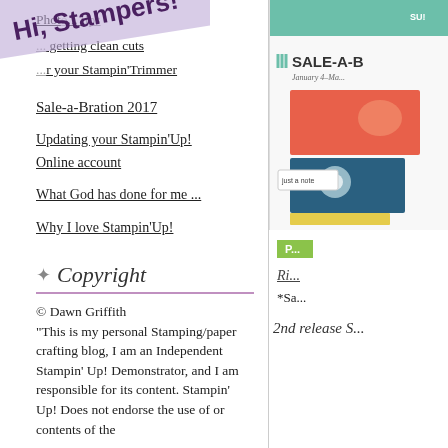[Figure (illustration): Diagonal purple/lavender ribbon banner with 'Hi, Stampers!' text]
Photos ... tips
... getting clean cuts
... your Stampin'Trimmer
Sale-a-Bration 2017
Updating your Stampin'Up! Online account
What God has done for me ...
Why I love Stampin'Up!
Copyright
© Dawn Griffith
"This is my personal Stamping/paper crafting blog, I am an Independent Stampin' Up! Demonstrator, and I am responsible for its content. Stampin' Up! Does not endorse the use of or contents of the
[Figure (photo): Sale-a-Bration 2017 catalog cover showing greeting cards with teal header]
[Figure (other): Green label box (partially visible)]
Ri...
*Sa...
2nd release S...